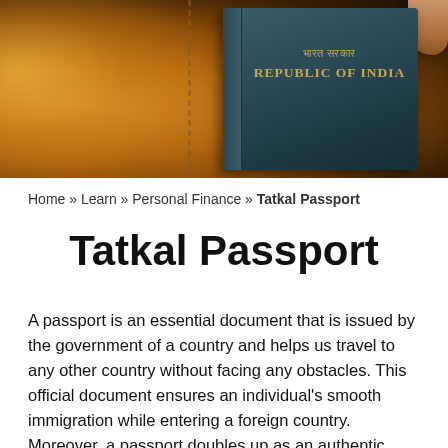[Figure (photo): Photo of an Indian passport (blue booklet reading 'REPUBLIC OF INDIA' in gold text) resting on a brown leather wallet/holder, with a finger visible at top right.]
Home » Learn » Personal Finance » Tatkal Passport
Tatkal Passport
A passport is an essential document that is issued by the government of a country and helps us travel to any other country without facing any obstacles. This official document ensures an individual's smooth immigration while entering a foreign country. Moreover, a passport doubles up as an authentic, official identity and address proof that helps its holder to avail various government and private services. The Consular at the Passport and Visa Division of the Ministry of External Affairs is entrusted